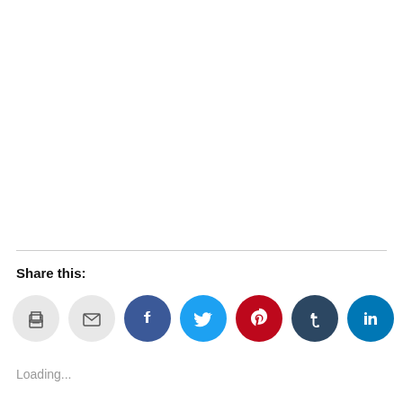Share this:
[Figure (infographic): Row of social sharing icon buttons: print, email, Facebook, Twitter, Pinterest, Tumblr, LinkedIn]
Loading...